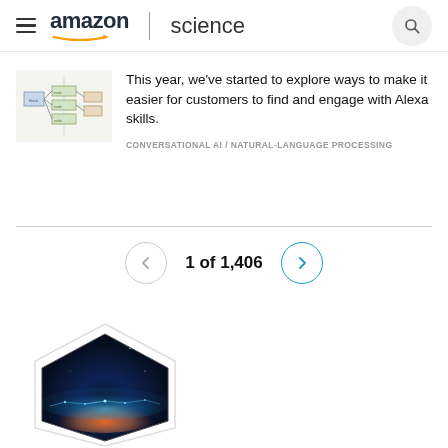amazon | science
This year, we've started to explore ways to make it easier for customers to find and engage with Alexa skills.
CONVERSATIONAL AI / NATURAL-LANGUAGE PROCESSING
1 of 1,406
[Figure (photo): Hexagonal image showing Earth from space with glowing network connectivity lights, dark blue sky with orange sunrise on horizon]